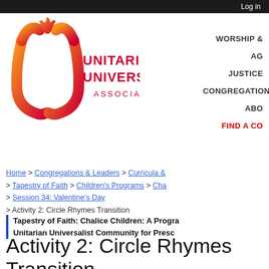Log in
[Figure (logo): Unitarian Universalist Association logo with flame icon and text]
WORSHIP &
AG
JUSTICE
CONGREGATION
ABO
FIND A CO
Home > Congregations & Leaders > Curricula & > Tapestry of Faith > Children's Programs > Cha > Session 34: Valentine's Day > Activity 2: Circle Rhymes Transition
Tapesty of Faith: Chalice Children: A Progra Unitarian Universalist Community for Presc
Activity 2: Circle Rhymes Transition
Part of Chalice Children